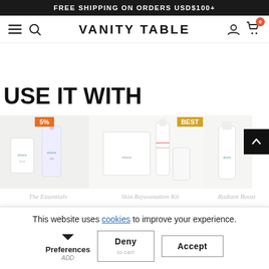FREE SHIPPING ON ORDERS USD$100+
VANITY TABLE
USE IT WITH
[Figure (photo): Product images strip showing skincare items with badges: 5% badge (orange) on first product, BEST badge (gold) on second product.]
This website uses cookies to improve your experience.
Preferences | Deny | Accept